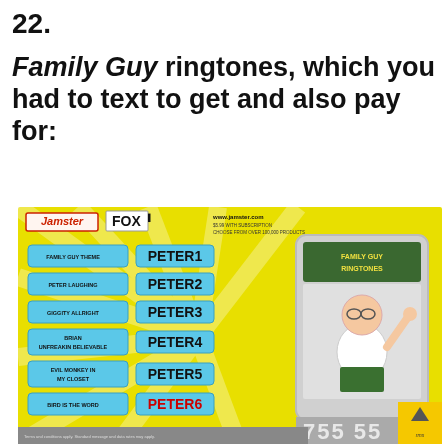22.
Family Guy ringtones, which you had to text to get and also pay for:
[Figure (photo): Advertisement for Jamster Family Guy ringtones on Fox, showing a yellow background with ringtone codes PETER1 through PETER6 corresponding to Family Guy Theme, Peter Laughing, Giggity Allright, Brian Unfreakin Believable, Evil Monkey in My Closet, Bird is the Word. Features Jamster and Fox logos, www.jamster.com URL, a phone displaying Family Guy Ringtones with Peter Griffin image, and the number 755 55.]